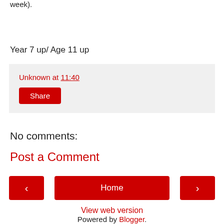week).
Year 7 up/ Age 11 up
Unknown at 11:40
Share
No comments:
Post a Comment
< Home >
View web version
Powered by Blogger.